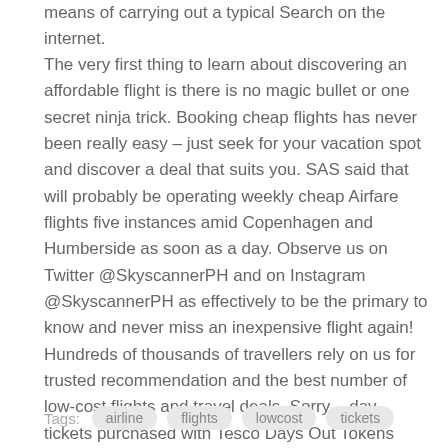means of carrying out a typical Search on the internet.
The very first thing to learn about discovering an affordable flight is there is no magic bullet or one secret ninja trick. Booking cheap flights has never been really easy – just seek for your vacation spot and discover a deal that suits you. SAS said that will probably be operating weekly cheap Airfare flights five instances amid Copenhagen and Humberside as soon as a day. Observe us on Twitter @SkyscannerPH and on Instagram @SkyscannerPH as effectively to be the primary to know and never miss an inexpensive flight again! Hundreds of thousands of travellers rely on us for trusted recommendation and the best number of low-cost flights and travel deals. Sorry – day tickets purchased with Tesco Days Out Tokens cannot be used in conjunction with the ticket improve scheme.
Tags: airline flights lowcost tickets